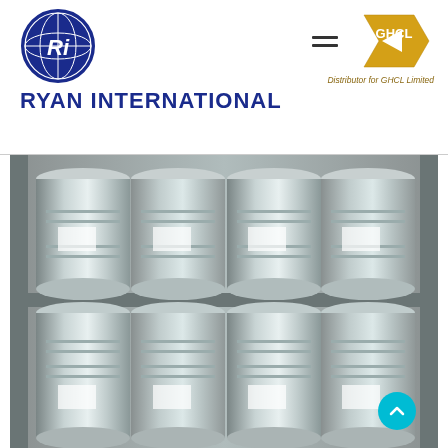[Figure (logo): Ryan International company logo: circular globe icon with 'Ri' monogram in blue, above the text RYAN INTERNATIONAL in bold dark blue]
[Figure (logo): GHCL Limited logo: orange/gold arrow chevron pointing left with 'GHCL' text, followed by 'Distributor for GHCL Limited' text below]
[Figure (photo): Photograph of multiple large silver/metallic industrial drums (8 visible) stacked in two rows inside a shipping container]